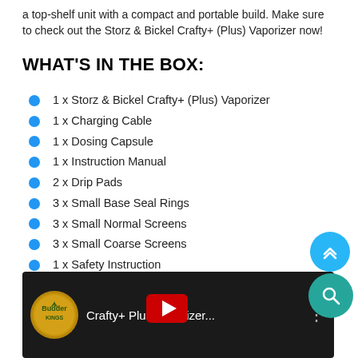a top-shelf unit with a compact and portable build. Make sure to check out the Storz & Bickel Crafty+ (Plus) Vaporizer now!
WHAT'S IN THE BOX:
1 x Storz & Bickel Crafty+ (Plus) Vaporizer
1 x Charging Cable
1 x Dosing Capsule
1 x Instruction Manual
2 x Drip Pads
3 x Small Base Seal Rings
3 x Small Normal Screens
3 x Small Coarse Screens
1 x Safety Instruction
[Figure (screenshot): YouTube video thumbnail showing Crafty+ Plus Vaporizer with Budder Kings logo and video title text]